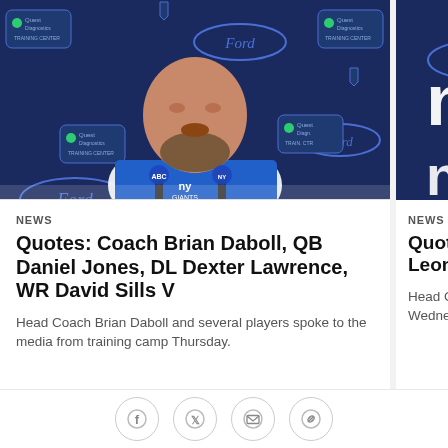[Figure (photo): NY Giants Head Coach Brian Daboll speaking at a press conference podium with microphones, wearing a blue NY Giants polo shirt, in front of a blue branded backdrop with Ford and Quest Diagnostics logos]
NEWS
Quotes: Coach Brian Daboll, QB Daniel Jones, DL Dexter Lawrence, WR David Sills V
Head Coach Brian Daboll and several players spoke to the media from training camp Thursday.
[Figure (photo): Partial view of a NY Giants branded backdrop with NY Giants logo (ny) and Ford logo, with partial view of a person in blue Giants gear on the right side]
NEWS
Quotes: C WR Sterl Leonard W
Head Coach B spoke to the m Wednesday.
[Figure (infographic): Social sharing footer bar with Facebook, Twitter, Email, and Link/chain icon buttons]